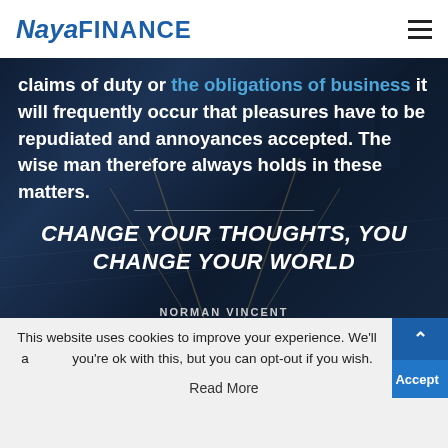Naya FINANCE
claims of duty or the obligations of business it will frequently occur that pleasures have to be repudiated and annoyances accepted. The wise man therefore always holds in these matters.
CHANGE YOUR THOUGHTS, YOU CHANGE YOUR WORLD
NORMAN VINCENT
This website uses cookies to improve your experience. We'll a... you're ok with this, but you can opt-out if you wish.
Read More